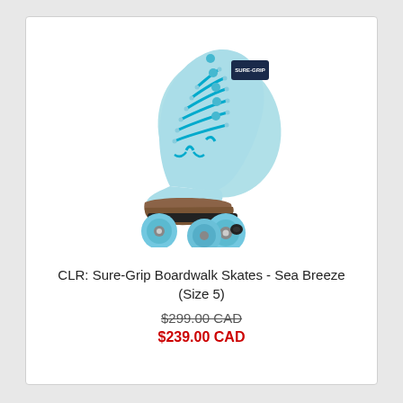[Figure (photo): A light blue suede Sure-Grip Boardwalk roller skate with bright blue laces, blue snap buttons on the back, a brown wooden platform, silver trucks, and four light blue wheels with a black toe stop on the right side.]
CLR: Sure-Grip Boardwalk Skates - Sea Breeze (Size 5)
$299.00 CAD
$239.00 CAD